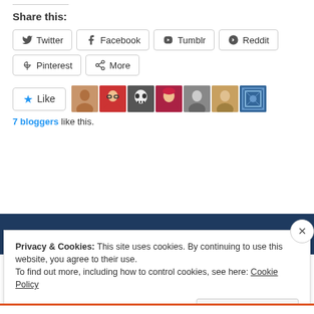Share this:
Twitter
Facebook
Tumblr
Reddit
Pinterest
More
[Figure (other): Like button with star icon and 7 blogger avatar thumbnails]
7 bloggers like this.
Privacy & Cookies: This site uses cookies. By continuing to use this website, you agree to their use.
To find out more, including how to control cookies, see here: Cookie Policy
Close and accept